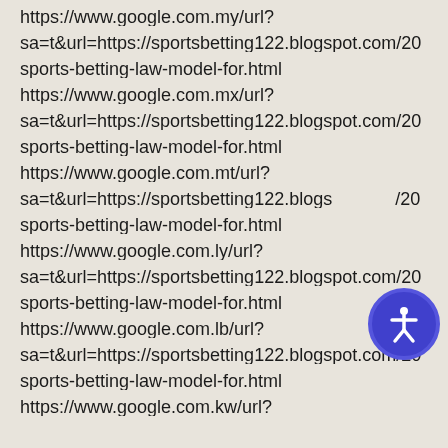https://www.google.com.my/url?
sa=t&url=https://sportsbetting122.blogspot.com/20
sports-betting-law-model-for.html
https://www.google.com.mx/url?
sa=t&url=https://sportsbetting122.blogspot.com/20
sports-betting-law-model-for.html
https://www.google.com.mt/url?
sa=t&url=https://sportsbetting122.blogs.../20
sports-betting-law-model-for.html
https://www.google.com.ly/url?
sa=t&url=https://sportsbetting122.blogspot.com/20
sports-betting-law-model-for.html
https://www.google.com.lb/url?
sa=t&url=https://sportsbetting122.blogspot.com/20
sports-betting-law-model-for.html
https://www.google.com.kw/url?